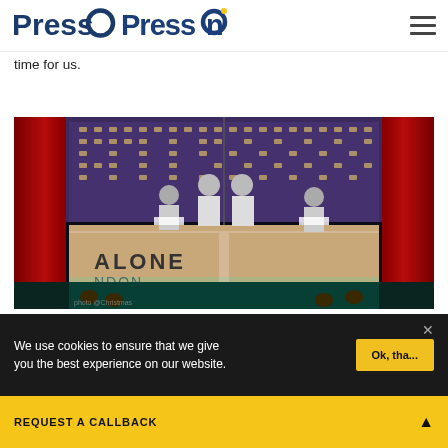PressOn [logo] [hamburger menu]
time for us.
[Figure (photo): Stage performance scene with performers in robot/silver costumes behind a bar counter, red theatrical curtains on sides, illuminated building facade backdrop, text 'ALONE LONDON' visible on the bar front]
We use cookies to ensure that we give you the best experience on our website.
REQUEST A CALLBACK